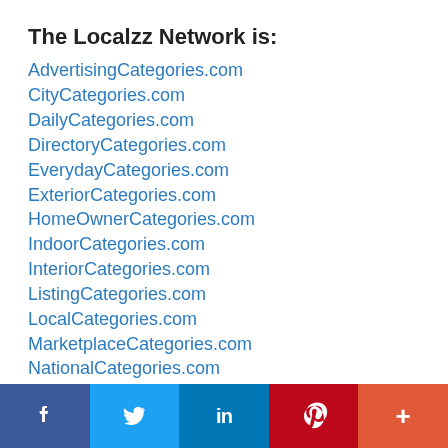The Localzz Network is:
AdvertisingCategories.com
CityCategories.com
DailyCategories.com
DirectoryCategories.com
EverydayCategories.com
ExteriorCategories.com
HomeOwnerCategories.com
IndoorCategories.com
InteriorCategories.com
ListingCategories.com
LocalCategories.com
MarketplaceCategories.com
NationalCategories.com
OutdoorCatgories.com
ProjectCategories.com
RemodelCategories.com